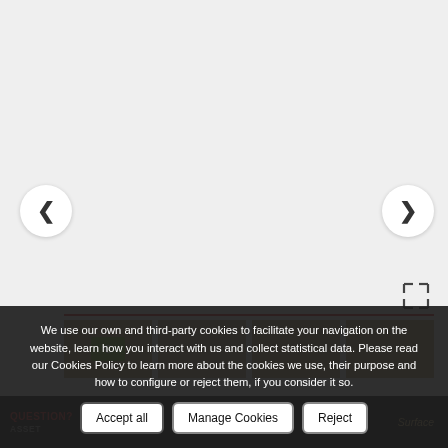[Figure (screenshot): Carousel image viewer with left and right navigation arrows, expand icon, red separator line, and thumbnail row below. The carousel area appears blank/empty with navigation controls visible.]
We use our own and third-party cookies to facilitate your navigation on the website, learn how you interact with us and collect statistical data. Please read our Cookies Policy to learn more about the cookies we use, their purpose and how to configure or reject them, if you consider it so.
Accept all | Manage Cookies | Reject
QUESTION?
Surface